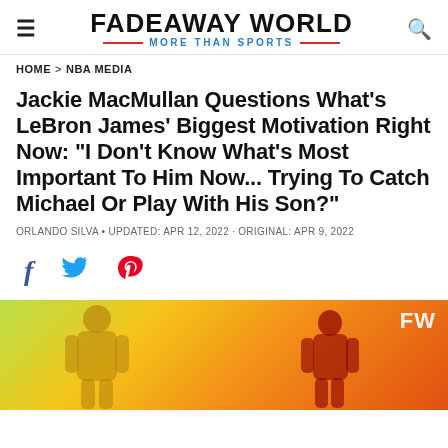FADEAWAY WORLD — MORE THAN SPORTS
HOME > NBA MEDIA
Jackie MacMullan Questions What's LeBron James' Biggest Motivation Right Now: "I Don't Know What's Most Important To Him Now... Trying To Catch Michael Or Play With His Son?"
ORLANDO SILVA · UPDATED: APR 12, 2022 · ORIGINAL: APR 9, 2022
[Figure (photo): Article header image showing LeBron James and Michael Jordan silhouettes on a yellow-green to orange-red gradient background, with FW watermark in top right corner]